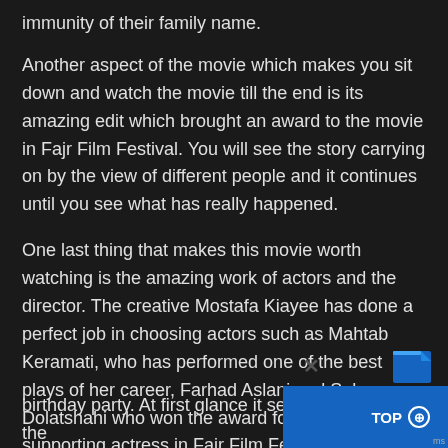immunity of their family name.
Another aspect of the movie which makes you sit down and watch the movie till the end is its amazing edit which brought an award to the movie in Fajr Film Festival. You will see the story carrying on by the view of different people and it continues until you see what has really happened.
One last thing that makes this movie worth watching is the amazing work of actors and the director. The creative Mostafa Kiayee has done a perfect job in choosing actors such as Mahtab Keramati, who has performed one of the best plays of her career, Farhad Aslani and Sahar Dolatshahi who won the award for the best supporting actress in Fajr Film Festival.
5. Felicity Land (Sa'adat Abad)
Three wealthy Iranian couples are gathered tog… birthday party. At first glance it seems that they have the